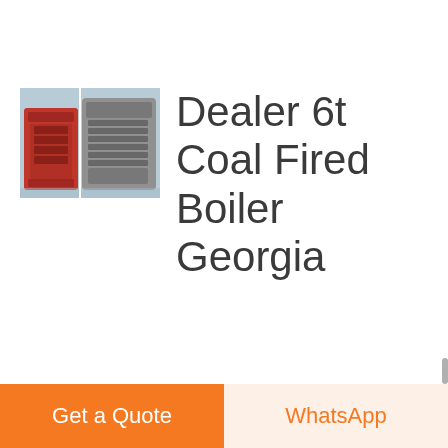[Figure (photo): Two industrial boilers side by side — a red/orange colored boiler unit on the left and a larger industrial boiler on the right, in a factory or plant setting]
Dealer 6t Coal Fired Boiler Georgia
Dealer Condensing Boiler 6t Georgia. Dealer 6t Commercial Boiler Azerbaijan. biomass fired condensing boiler dealer. Related Information. 2 ton steam boiler price oil gas
Get a Quote
WhatsApp